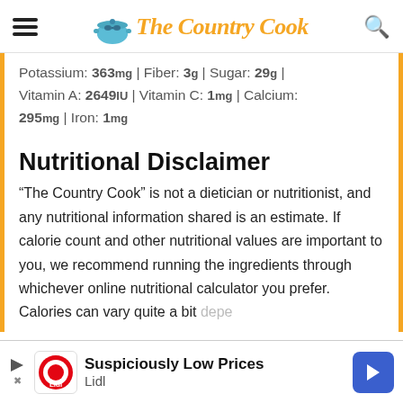The Country Cook
Potassium: 363mg | Fiber: 3g | Sugar: 29g | Vitamin A: 2649IU | Vitamin C: 1mg | Calcium: 295mg | Iron: 1mg
Nutritional Disclaimer
“The Country Cook” is not a dietician or nutritionist, and any nutritional information shared is an estimate. If calorie count and other nutritional values are important to you, we recommend running the ingredients through whichever online nutritional calculator you prefer. Calories can vary quite a bit depe…
[Figure (other): Advertisement banner for Lidl: 'Suspiciously Low Prices' with Lidl logo and blue arrow icon]